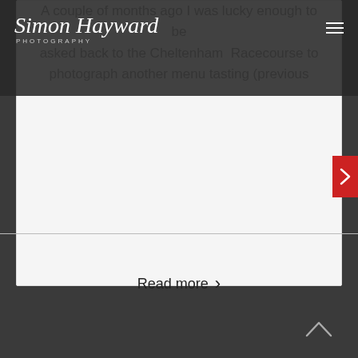Simon Hayward Photography
A couple of months ago I was lucky enough to be asked back to the Cheltenham Racecourse to photograph another menu tasting (previous tasting images here). This time the menu was created by Albert Roux and was to be served in the Chez Roux restaurant during the Gold Cup festival week in March. In true [...]
Read more >